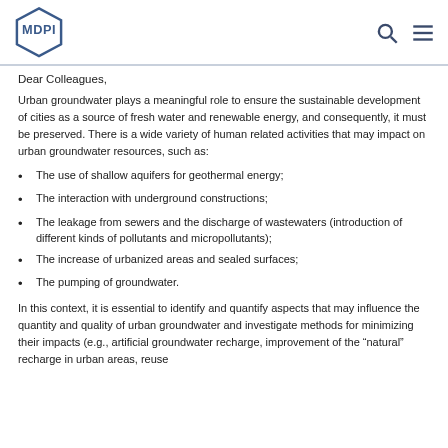MDPI
Dear Colleagues,
Urban groundwater plays a meaningful role to ensure the sustainable development of cities as a source of fresh water and renewable energy, and consequently, it must be preserved. There is a wide variety of human related activities that may impact on urban groundwater resources, such as:
The use of shallow aquifers for geothermal energy;
The interaction with underground constructions;
The leakage from sewers and the discharge of wastewaters (introduction of different kinds of pollutants and micropollutants);
The increase of urbanized areas and sealed surfaces;
The pumping of groundwater.
In this context, it is essential to identify and quantify aspects that may influence the quantity and quality of urban groundwater and investigate methods for minimizing their impacts (e.g., artificial groundwater recharge, improvement of the "natural" recharge in urban areas, reuse